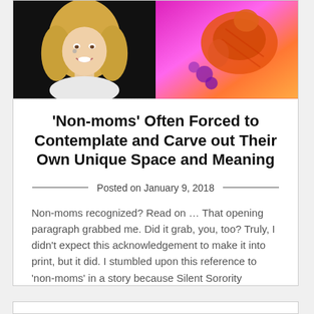[Figure (photo): Two side-by-side images: left shows a blonde woman (likely Dolly Parton) smiling against a dark background; right shows a colorful illustration/painting with orange, purple, and pink tones.]
'Non-moms' Often Forced to Contemplate and Carve out Their Own Unique Space and Meaning
Posted on January 9, 2018
Non-moms recognized? Read on … That opening paragraph grabbed me. Did it grab, you, too? Truly, I didn't expect this acknowledgement to make it into print, but it did. I stumbled upon this reference to 'non-moms' in a story because Silent Sorority garnered a mention in a feature about Dolly Parton.  (And that… Read more